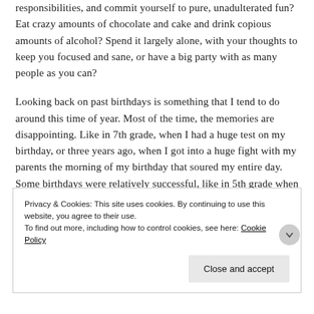responsibilities, and commit yourself to pure, unadulterated fun? Eat crazy amounts of chocolate and cake and drink copious amounts of alcohol? Spend it largely alone, with your thoughts to keep you focused and sane, or have a big party with as many people as you can?
Looking back on past birthdays is something that I tend to do around this time of year. Most of the time, the memories are disappointing. Like in 7th grade, when I had a huge test on my birthday, or three years ago, when I got into a huge fight with my parents the morning of my birthday that soured my entire day. Some birthdays were relatively successful, like in 5th grade when my teacher gave me a poster of endangered species, or my junior year in college, when I turned 20, saw a
Privacy & Cookies: This site uses cookies. By continuing to use this website, you agree to their use.
To find out more, including how to control cookies, see here: Cookie Policy
Close and accept